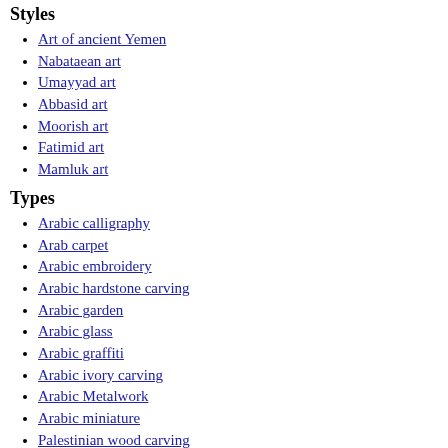Styles
Art of ancient Yemen
Nabataean art
Umayyad art
Abbasid art
Moorish art
Fatimid art
Mamluk art
Types
Arabic calligraphy
Arab carpet
Arabic embroidery
Arabic hardstone carving
Arabic garden
Arabic glass
Arabic graffiti
Arabic ivory carving
Arabic Metalwork
Arabic miniature
Palestinian wood carving
Arabic pottery
Features